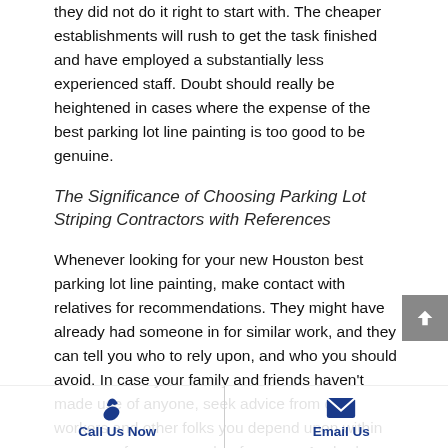they did not do it right to start with. The cheaper establishments will rush to get the task finished and have employed a substantially less experienced staff. Doubt should really be heightened in cases where the expense of the best parking lot line painting is too good to be genuine.
The Significance of Choosing Parking Lot Striping Contractors with References
Whenever looking for your new Houston best parking lot line painting, make contact with relatives for recommendations. They might have already had someone in for similar work, and they can tell you who to rely upon, and who you should avoid. In case your family and friends haven't made use of anyone, seek advice from co-workers and other folks you depend upon within your area for some work references. Anybody could seem like they are aware of what they are doing, nevertheless, you cannot simply take their word for it. Make sure you are able to call prior